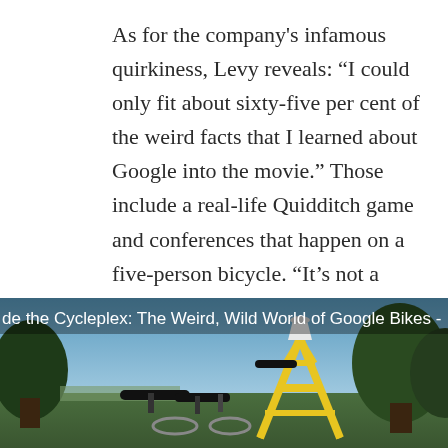As for the company's infamous quirkiness, Levy reveals: “I could only fit about sixty-five per cent of the weird facts that I learned about Google into the movie.” Those include a real-life Quidditch game and conferences that happen on a five-person bicycle. “It’s not a gimmick,” Levy said. “Every time I’d go up there, I’d see someone on it.” They are of course, referring to this thing:
[Figure (photo): A photo of a multi-person bicycle (Google Cycleplex) with a distinctive yellow geometric frame structure, bicycle seats visible, trees in background, blue sky. Overlay text reads: 'de the Cycleplex: The Weird, Wild World of Google Bikes -']